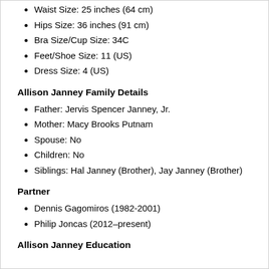Waist Size: 25 inches (64 cm)
Hips Size: 36 inches (91 cm)
Bra Size/Cup Size: 34C
Feet/Shoe Size: 11 (US)
Dress Size: 4 (US)
Allison Janney Family Details
Father: Jervis Spencer Janney, Jr.
Mother: Macy Brooks Putnam
Spouse: No
Children: No
Siblings: Hal Janney (Brother), Jay Janney (Brother)
Partner
Dennis Gagomiros (1982-2001)
Philip Joncas (2012–present)
Allison Janney Education